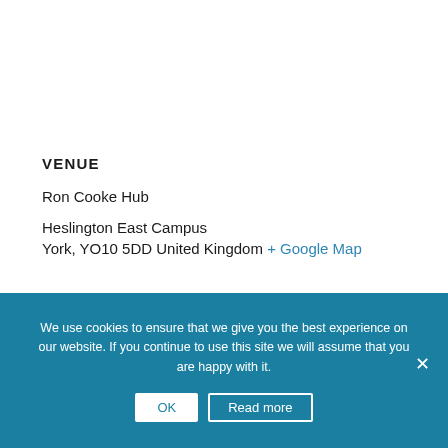VENUE
Ron Cooke Hub
Heslington East Campus
York, YO10 5DD United Kingdom + Google Map
We use cookies to ensure that we give you the best experience on our website. If you continue to use this site we will assume that you are happy with it.